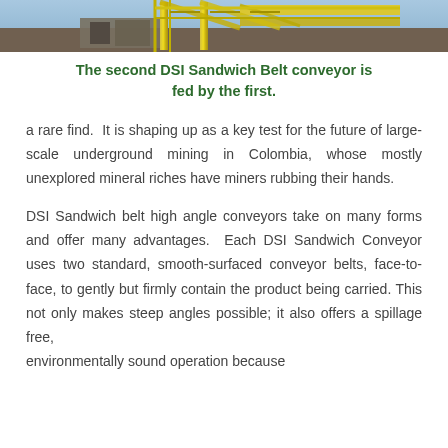[Figure (photo): Photograph of DSI Sandwich Belt conveyor equipment, showing yellow structural framework and conveyor machinery]
The second DSI Sandwich Belt conveyor is fed by the first.
a rare find.  It is shaping up as a key test for the future of large-scale underground mining in Colombia, whose mostly unexplored mineral riches have miners rubbing their hands.
DSI Sandwich belt high angle conveyors take on many forms and offer many advantages.  Each DSI Sandwich Conveyor uses two standard, smooth-surfaced conveyor belts, face-to-face, to gently but firmly contain the product being carried. This not only makes steep angles possible; it also offers a spillage free, environmentally sound operation because